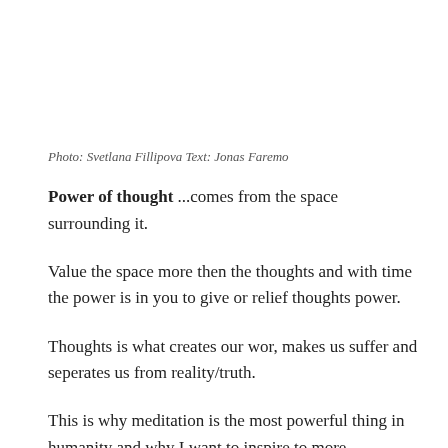Photo: Svetlana Fillipova Text: Jonas Faremo
Power of thought ...comes from the space surrounding it.
Value the space more then the thoughts and with time the power is in you to give or relief thoughts power.
Thoughts is what creates our wor, makes us suffer and seperates us from reality/truth.
This is why meditation is the most powerful thing in humanity and why I want to inspire to more mindfulness in the lifes of conscious humans.